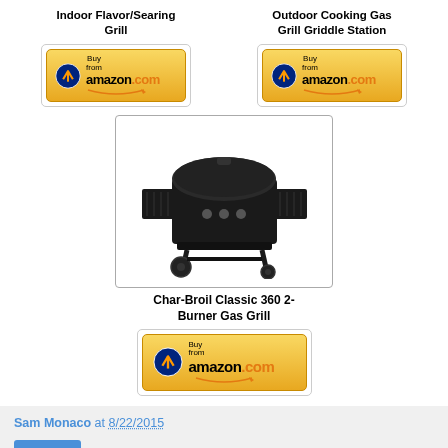Indoor Flavor/Searing Grill
Outdoor Cooking Gas Grill Griddle Station
[Figure (other): Amazon Buy button for Indoor Flavor/Searing Grill]
[Figure (other): Amazon Buy button for Outdoor Cooking Gas Grill Griddle Station]
[Figure (photo): Photo of Char-Broil Classic 360 2-Burner Gas Grill — a black outdoor gas grill with side shelves and wheels]
Char-Broil Classic 360 2-Burner Gas Grill
[Figure (other): Amazon Buy button for Char-Broil Classic 360 2-Burner Gas Grill]
Sam Monaco at 8/22/2015
Share
13 comments: